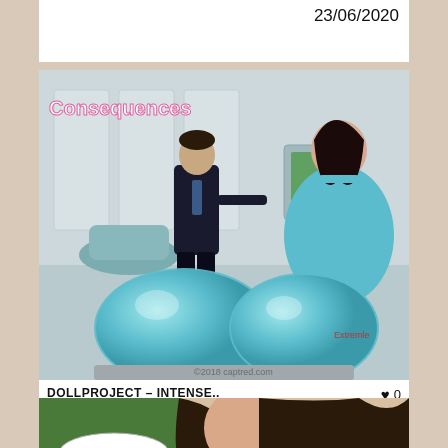23/06/2020
[Figure (illustration): 3D rendered illustration titled 'Consequences' showing a man in a suit and a large woman with oversized features in a futuristic room with two large teal spheres on the floor]
DOLLPROJECT – INTENSE..
big ass / big breasts
♥ 0
👁 2311
27/10/2020
[Figure (illustration): Partial view of a comic/illustration showing a woman with long dark hair with a speech bubble saying "I'M CUMMING!!!"]